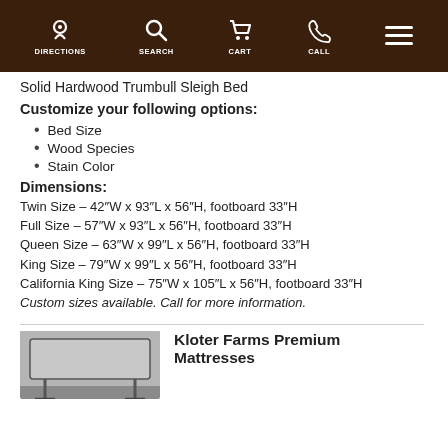DIRECTIONS  SEARCH  CART  CALL
Solid Hardwood Trumbull Sleigh Bed
Customize your following options:
Bed Size
Wood Species
Stain Color
Dimensions:
Twin Size – 42"W x 93"L x 56"H, footboard 33"H
Full Size – 57"W x 93"L x 56"H, footboard 33"H
Queen Size – 63"W x 99"L x 56"H, footboard 33"H
King Size – 79"W x 99"L x 56"H, footboard 33"H
California King Size – 75"W x 105"L x 56"H, footboard 33"H
Custom sizes available. Call for more information.
[Figure (photo): Photo of a mattress or bed furniture product]
Kloter Farms Premium Mattresses